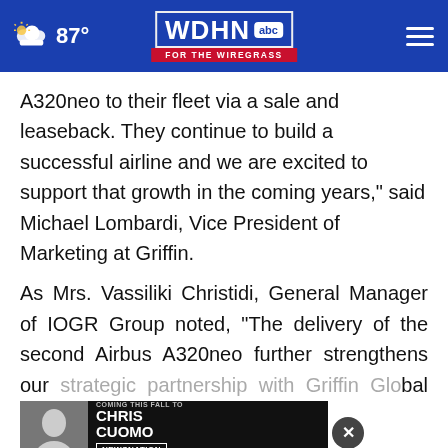WDHN ABC FOR THE WIREGRASS | 87°
A320neo to their fleet via a sale and leaseback. They continue to build a successful airline and we are excited to support that growth in the coming years,” said Michael Lombardi, Vice President of Marketing at Griffin.
As Mrs. Vassiliki Christidi, General Manager of IOGR Group noted, “The delivery of the second Airbus A320neo further strengthens our strategic partnership with Griffin Global Asset Management and builds trust
[Figure (screenshot): Chris Cuomo advertisement banner: 'COMING THIS FALL TO NEWSNATION FIND YOUR CHANNEL' with photo of Chris Cuomo and close/X button overlay]